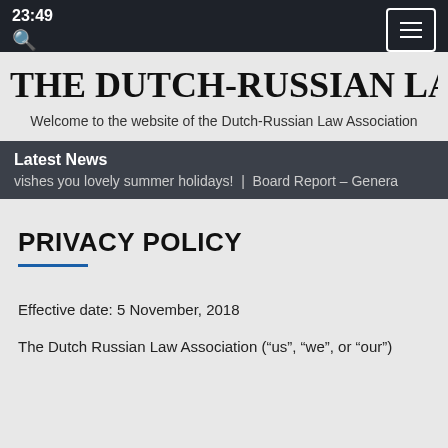23:49
THE DUTCH-RUSSIAN LAW AS
Welcome to the website of the Dutch-Russian Law Association
Latest News
vishes you lovely summer holidays! | Board Report – Genera
PRIVACY POLICY
Effective date: 5 November, 2018
The Dutch Russian Law Association (“us”, “we”, or “our”)